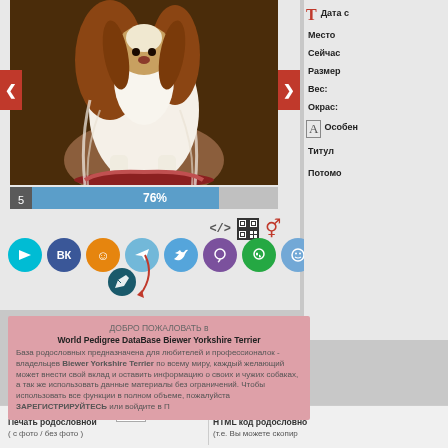[Figure (photo): Photo of a Biewer Yorkshire Terrier dog with long brown and white fur, sitting on a red surface against a dark brown background. Navigation arrows on left and right sides in red.]
[Figure (infographic): Progress bar showing 76% with photo count label '5'. Below are rows of social sharing buttons (messenger, VK, Odnoklassniki, Telegram, Twitter, Viber, WhatsApp, smiley/ICQ, Skype) and a dark teal edit/pencil icon with a red arc arrow pointing to it.]
Дата с
Место
Сейчас
Размер
Вес:
Окрас:
Особен
Титул
Потомо
ДОБРО ПОЖАЛОВАТЬ в
World Pedigree DataBase Biewer Yorkshire Terrier
База родословных предназначена для любителей и профессионалок - владельцев Biewer Yorkshire Terrier по всему миру, каждый желающий может внести свой вклад и оставить информацию о своих и чужих собаках, а так же использовать данные материалы без ограничений. Чтобы использовать все функции в полном объеме, пожалуйста ЗАРЕГИСТРИРУЙТЕСЬ или войдите в П
Печать родословной
( с фото / без фото )
HTML код родословно
(т.е. Вы можете скопир
Сколько колен показывать 4